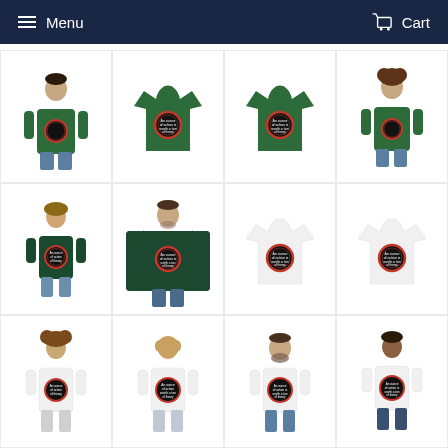Menu   Cart
[Figure (photo): E-commerce website screenshot showing a grid of 12 t-shirt product images. The t-shirts come in dark green and white colors, each featuring a circular badge/graphic with text. Some images show models wearing the shirts (front and back views), and some show the shirts laid flat. The layout is a 4-column by 3-row product grid on a white/light gray background.]